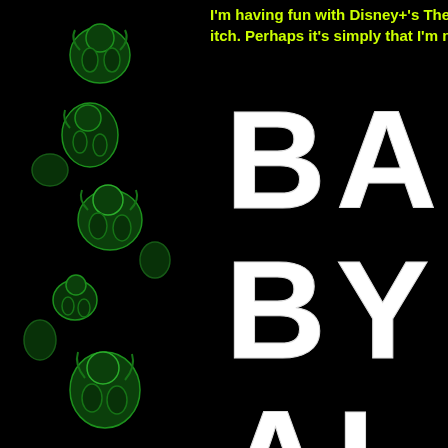I'm having fun with Disney+'s The Ma itch. Perhaps it's simply that I'm not su
[Figure (illustration): Green glowing cartoon character figures pattern on dark background forming a vertical decorative border on the left side]
BABY AL